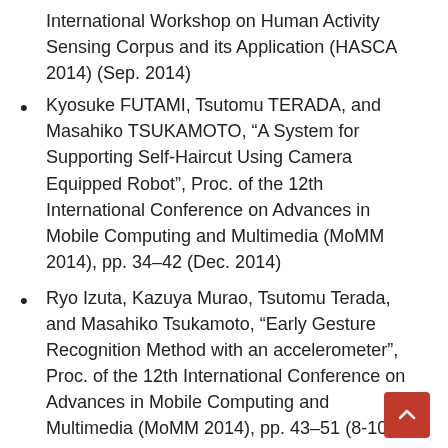International Workshop on Human Activity Sensing Corpus and its Application (HASCA 2014) (Sep. 2014)
Kyosuke FUTAMI, Tsutomu TERADA, and Masahiko TSUKAMOTO, “A System for Supporting Self-Haircut Using Camera Equipped Robot”, Proc. of the 12th International Conference on Advances in Mobile Computing and Multimedia (MoMM 2014), pp. 34–42 (Dec. 2014)
Ryo Izuta, Kazuya Murao, Tsutomu Terada, and Masahiko Tsukamoto, “Early Gesture Recognition Method with an accelerometer”, Proc. of the 12th International Conference on Advances in Mobile Computing and Multimedia (MoMM 2014), pp. 43–51 (8-10 Dec. 2014)